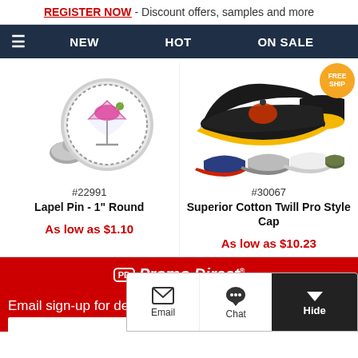REGISTER NOW - Discount offers, samples and more
NEW  HOT  ON SALE
[Figure (photo): Lapel pin with martini glass design, 1 inch round, silver metal]
#22991
Lapel Pin - 1" Round
As low as $1.10
[Figure (photo): Superior Cotton Twill Pro Style baseball caps in multiple colors with FREE SHIP badge]
#30067
Superior Cotton Twill Pro Style Cap
As low as $10.23
[Figure (logo): Promo Direct logo in white on red background with tagline #1 RATED Promotional Products]
Email sign-up for deals
Email  Chat  Hide